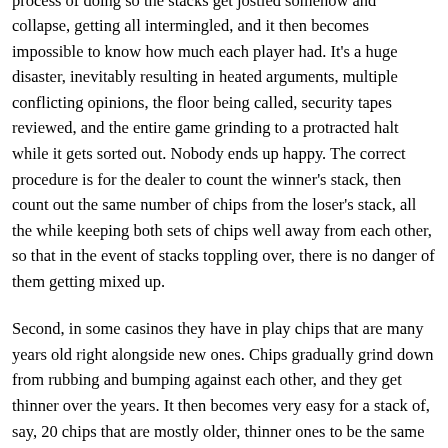matching stacks is not a good idea. First, once in a while in the process of doing so the stacks get jostled somehow and collapse, getting all intermingled, and it then becomes impossible to know how much each player had. It's a huge disaster, inevitably resulting in heated arguments, multiple conflicting opinions, the floor being called, security tapes reviewed, and the entire game grinding to a protracted halt while it gets sorted out. Nobody ends up happy. The correct procedure is for the dealer to count the winner's stack, then count out the same number of chips from the loser's stack, all the while keeping both sets of chips well away from each other, so that in the event of stacks toppling over, there is no danger of them getting mixed up.
Second, in some casinos they have in play chips that are many years old right alongside new ones. Chips gradually grind down from rubbing and bumping against each other, and they get thinner over the years. It then becomes very easy for a stack of, say, 20 chips that are mostly older, thinner ones to be the same height as a stack of 19 chips that consists mostly of new, full-thickness ones. Local casinos that come to mind where this is a real and ongoing